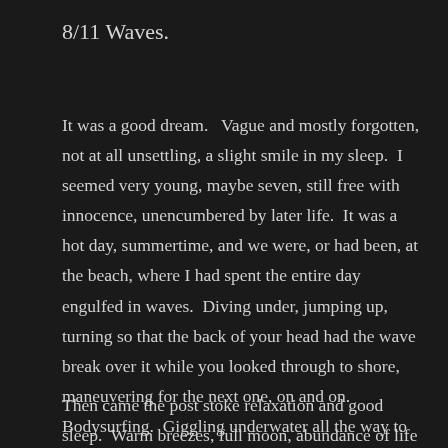8/11 Waves.
It was a good dream.   Vague and mostly forgotten, not at all unsettling, a slight smile in my sleep.  I seemed very young, maybe seven, still free with innocence, unencumbered by later life.  It was a hot day, summertime, and we were, or had been, at the beach, where I had spent the entire day engulfed in waves.  Diving under, jumping up, turning so that the back of your head had the wave break over it while you looked through to shore, maneuvering for the next one, on and on.  Bodysurfing.  Giggling underwater all the way to the sand when you got caught.
Then came the post stoke relaxation and good sleep.  Warm breezes, full moon, abundance of life and